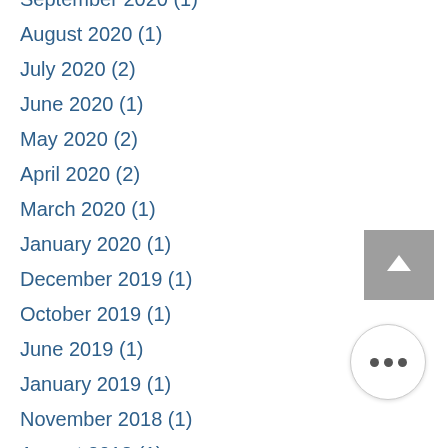September 2020 (1)
August 2020 (1)
July 2020 (2)
June 2020 (1)
May 2020 (2)
April 2020 (2)
March 2020 (1)
January 2020 (1)
December 2019 (1)
October 2019 (1)
June 2019 (1)
January 2019 (1)
November 2018 (1)
August 2018 (1)
July 2018 (3)
June 2018 (2)
May 2018 (1)
April 2018 (1)
January 2018 (3)